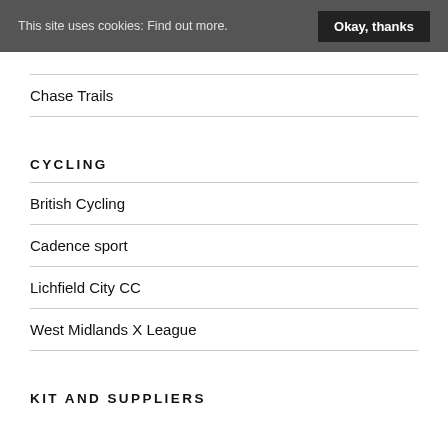This site uses cookies: Find out more.  Okay, thanks
Chase Trails
CYCLING
British Cycling
Cadence sport
Lichfield City CC
West Midlands X League
KIT AND SUPPLIERS